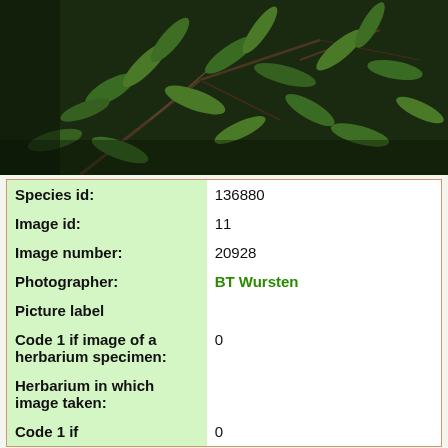[Figure (photo): Close-up photograph of green plant leaves and branches against a dark background, likely a botanical specimen photo.]
| Species id: | 136880 |
| Image id: | 11 |
| Image number: | 20928 |
| Photographer: | BT Wursten |
| Picture label |  |
| Code 1 if image of a herbarium specimen: | 0 |
| Herbarium in which image taken: |  |
| Code 1 if | 0 |